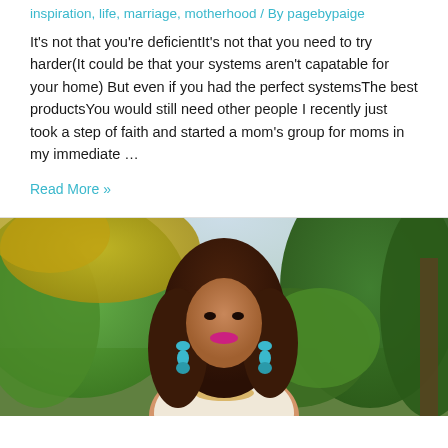inspiration, life, marriage, motherhood / By pagebypaige
It's not that you're deficientIt's not that you need to try harder(It could be that your systems aren't capatable for your home) But even if you had the perfect systemsThe best productsYou would still need other people I recently just took a step of faith and started a mom's group for moms in my immediate ...
Read More »
[Figure (photo): Outdoor portrait of a woman with long curly hair, wearing teal/turquoise drop earrings and a gold necklace, with a pink lip color, standing in front of green trees and yellow foliage]